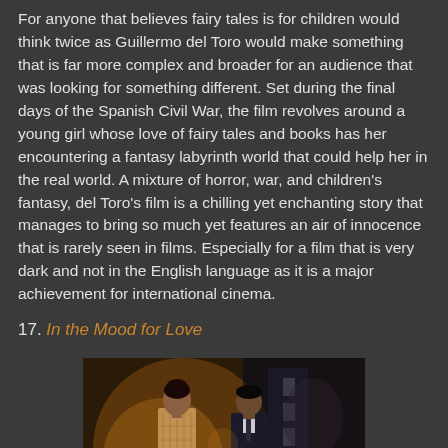For anyone that believes fairy tales is for children would think twice as Guillermo del Toro would make something that is far more complex and broader for an audience that was looking for something different. Set during the final days of the Spanish Civil War, the film revolves around a young girl whose love of fairy tales and books has her encountering a fantasy labyrinth world that could help her in the real world. A mixture of horror, war, and children's fantasy, del Toro's film is a chilling yet enchanting story that manages to bring so much yet features an air of innocence that is rarely seen in films. Especially for a film that is very dark and not in the English language as it is a major achievement for international cinema.
17. In the Mood for Love
[Figure (photo): A scene from 'In the Mood for Love' showing a woman in a patterned qipao dress and a man in a dark suit standing in a dimly lit corridor or alley.]